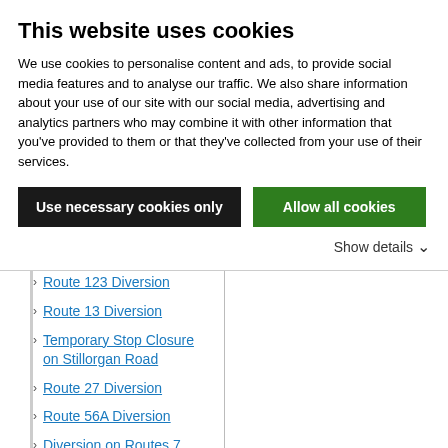This website uses cookies
We use cookies to personalise content and ads, to provide social media features and to analyse our traffic. We also share information about your use of our site with our social media, advertising and analytics partners who may combine it with other information that you've provided to them or that they've collected from your use of their services.
Use necessary cookies only
Allow all cookies
Show details
Route 123 Diversion
Route 13 Diversion
Temporary Stop Closure on Stillorgan Road
Route 27 Diversion
Route 56A Diversion
Diversion on Routes 7, 7a, 123 and City Tours
May Bank Holiday Service Arrangements 2022
Diversion on Old Yellow Walls Road
Route 27 Diversion
Temporary Stop Closure on Amiens Street
Diversions due to